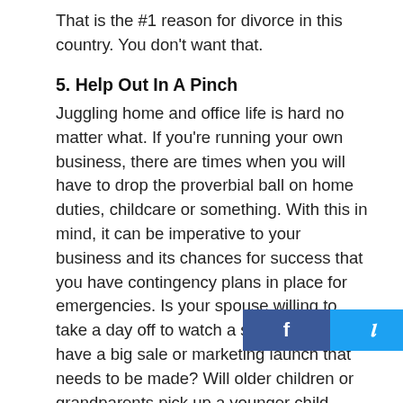That is the #1 reason for divorce in this country. You don't want that.
5. Help Out In A Pinch
Juggling home and office life is hard no matter what. If you're running your own business, there are times when you will have to drop the proverbial ball on home duties, childcare or something. With this in mind, it can be imperative to your business and its chances for success that you have contingency plans in place for emergencies. Is your spouse willing to take a day off to watch a sick child if you have a big sale or marketing launch that needs to be made? Will older children or grandparents pick up a younger child when you [social bar] ke sure you have a good support system in place and half your